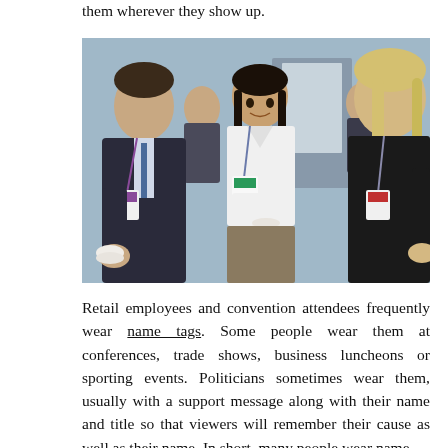them wherever they show up.
[Figure (photo): Three business professionals at a networking event or conference. A man in a dark suit with a lanyard/name tag on the left faces a young woman in the center holding a white teacup and saucer and wearing a conference name tag. A blonde woman in a dark top with a lanyard is on the right. Background shows more people in business attire.]
Retail employees and convention attendees frequently wear name tags. Some people wear them at conferences, trade shows, business luncheons or sporting events. Politicians sometimes wear them, usually with a support message along with their name and title so that viewers will remember their cause as well as their name. In short, many people wear name